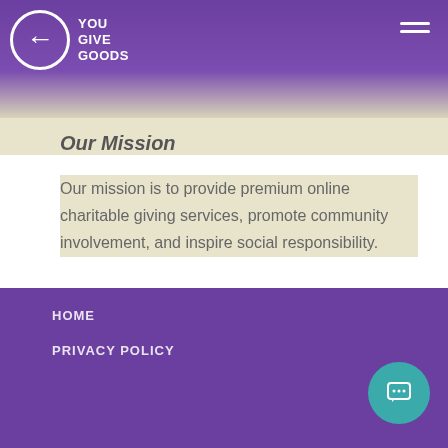YOU GIVE GOODS
Our Mission
Our mission is to provide premium online charitable giving services, promote community involvement, and inspire social responsibility.
Connect & Stay in the Loop
Sign up for our newsletter
HOME
PRIVACY POLICY